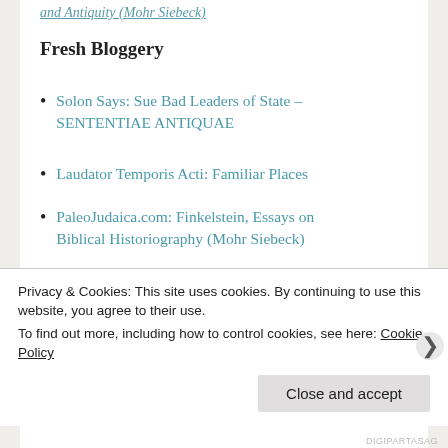and Antiquity (Mohr Siebeck)
Fresh Bloggery
Solon Says: Sue Bad Leaders of State – SENTENTIAE ANTIQUAE
Laudator Temporis Acti: Familiar Places
PaleoJudaica.com: Finkelstein, Essays on Biblical Historiography (Mohr Siebeck)
PaleoJudaica.com: Laderman, Jewish Art in Late Antiquity (Brill)
PaleoJudaica.com: Viezel, The Intention of the Torah and the Interpretation of Its Books
Privacy & Cookies: This site uses cookies. By continuing to use this website, you agree to their use. To find out more, including how to control cookies, see here: Cookie Policy
Close and accept